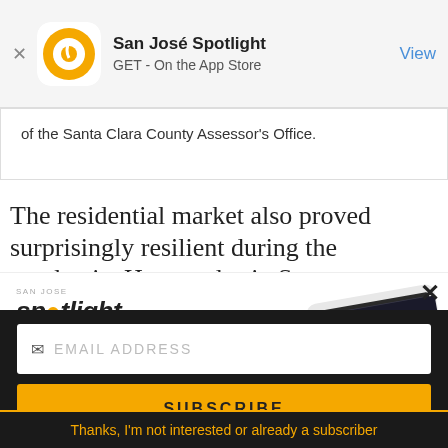San José Spotlight — GET - On the App Store — View
of the Santa Clara County Assessor's Office.
The residential market also proved surprisingly resilient during the pandemic. Home sales in Santa
[Figure (screenshot): San José Spotlight advertisement banner showing logo, tagline 'Where San Jose locals start the day.' and website sanjosespotlight.com with a tablet image]
EMAIL ADDRESS
SUBSCRIBE
Thanks, I'm not interested or already a subscriber